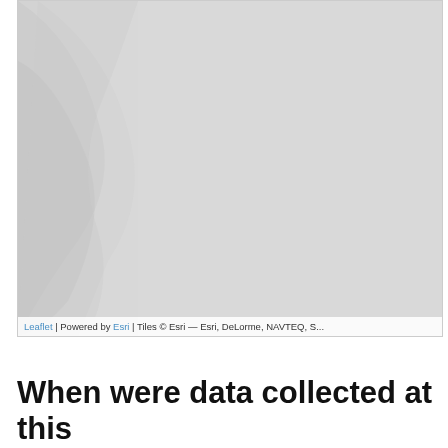[Figure (map): A light gray Esri basemap showing topographic/street features. Map is mostly blank/light gray with subtle terrain shadows visible in the upper left region. Attribution bar at bottom reads: Leaflet | Powered by Esri | Tiles © Esri — Esri, DeLorme, NAVTEQ, S...]
When were data collected at this